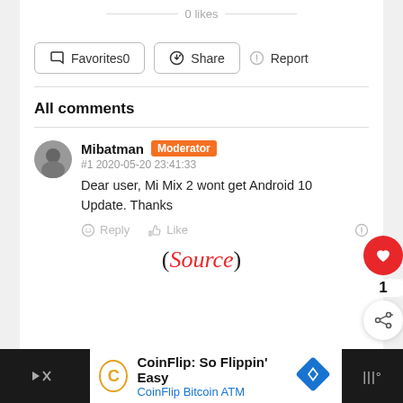0 likes
Favorites0  Share  Report
All comments
Mibatman [Moderator]
#1 2020-05-20 23:41:33
Dear user, Mi Mix 2 wont get Android 10 Update. Thanks
Reply  Like
(Source)
[Figure (screenshot): Mobile advertisement bar: CoinFlip Bitcoin ATM ad with logo, title 'CoinFlip: So Flippin' Easy', subtitle 'CoinFlip Bitcoin ATM', diamond navigation icon, and Waze-style icon on dark background]